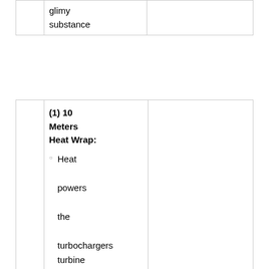|  | glimy substance |  |
|  | (1) 10 Meters Heat Wrap:
• Heat powers the turbochargers turbine inlet. Keep the heat inside the exhaust |  |